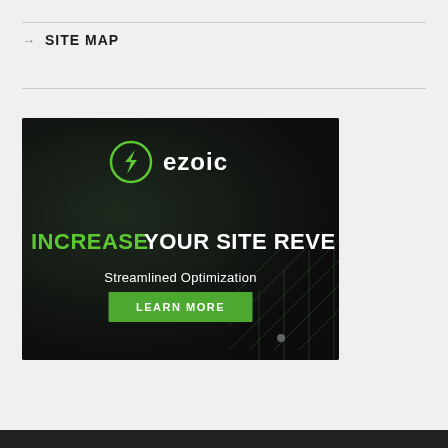→ SITE MAP
[Figure (infographic): Ezoic advertisement banner with dark background. Shows Ezoic logo (green circular icon with lightning bolt and white wordmark 'ezoic'), headline 'INCREASE YOUR SITE REVENUE' in bold white and green text, subheading 'Streamlined Optimization' in white, and a green 'LEARN MORE' button. Bottom-right has decorative tech grid lines illustration.]